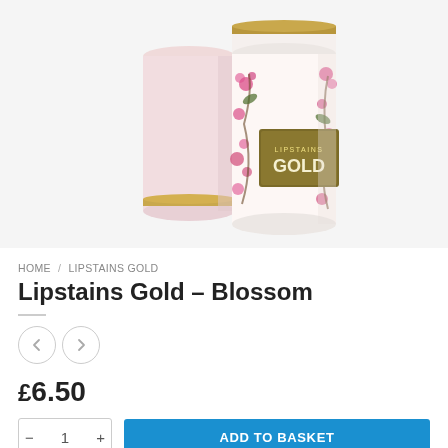[Figure (photo): Two cylindrical lipstick containers. One is plain pale pink with a gold band near the base. The other is white with pink cherry blossom floral pattern and a gold rectangular label reading 'LIPSTAINS GOLD'.]
HOME / LIPSTAINS GOLD
Lipstains Gold – Blossom
£6.50
1
ADD TO BASKET